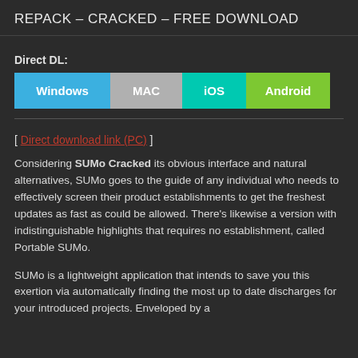REPACK – CRACKED – FREE DOWNLOAD
Direct DL:
[Figure (other): Download buttons row: Windows (blue), MAC (gray), iOS (teal), Android (green)]
[ Direct download link (PC) ]
Considering SUMo Cracked its obvious interface and natural alternatives, SUMo goes to the guide of any individual who needs to effectively screen their product establishments to get the freshest updates as fast as could be allowed. There's likewise a version with indistinguishable highlights that requires no establishment, called Portable SUMo.
SUMo is a lightweight application that intends to save you this exertion via automatically finding the most up to date discharges for your introduced projects. Enveloped by a